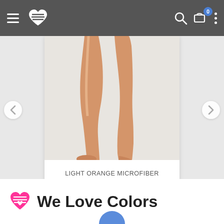Navigation bar with hamburger menu, We Love Colors logo, search icon, cart (0), and more options
[Figure (photo): Product photo of light orange/skin-tone tights showing lower legs and feet against a white background]
LIGHT ORANGE MICROFIBER NYLON/LYCRA TIGHTS
$16.00-$25.00
More Info
We Love Colors